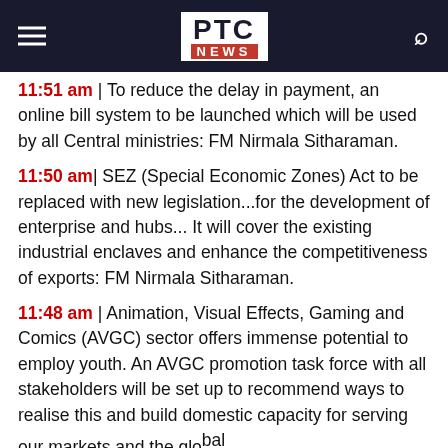PTC NEWS
11:51 am | To reduce the delay in payment, an online bill system to be launched which will be used by all Central ministries: FM Nirmala Sitharaman.
11:50 am| SEZ (Special Economic Zones) Act to be replaced with new legislation...for the development of enterprise and hubs... It will cover the existing industrial enclaves and enhance the competitiveness of exports: FM Nirmala Sitharaman.
11:48 am | Animation, Visual Effects, Gaming and Comics (AVGC) sector offers immense potential to employ youth. An AVGC promotion task force with all stakeholders will be set up to recommend ways to realise this and build domestic capacity for serving our markets and the global